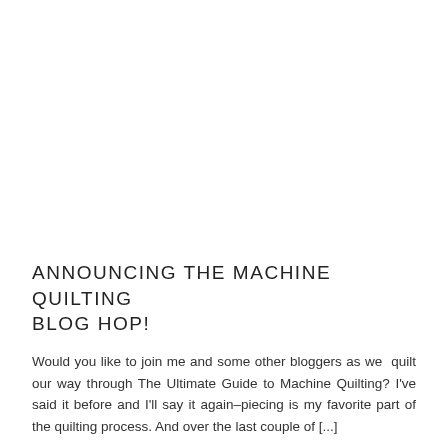ANNOUNCING THE MACHINE QUILTING BLOG HOP!
Would you like to join me and some other bloggers as we quilt our way through The Ultimate Guide to Machine Quilting? I've said it before and I'll say it again–piecing is my favorite part of the quilting process. And over the last couple of [...]
machine quilting, blog hop, quilting, sewing   •   by Kristin